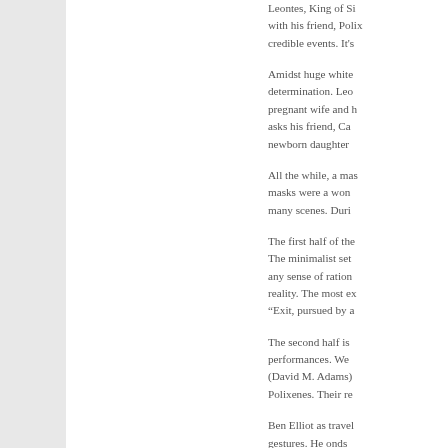Leontes, King of Si... with his friend, Polix... credible events. It's...
Amidst huge white... determination. Leo... pregnant wife and h... asks his friend, Ca... newborn daughter...
All the while, a mas... masks were a won... many scenes. Duri...
The first half of the... The minimalist set... any sense of ration... reality. The most ex... “Exit, pursued by a...
The second half is... performances. We... (David M. Adams)... Polixenes. Their re...
Ben Elliot as trave... gestures. He onds...